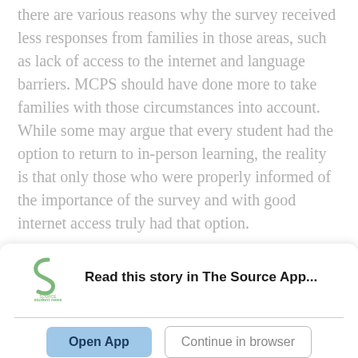there are various reasons why the survey received less responses from families in those areas, such as lack of access to the internet and language barriers. MCPS should have done more to take families with those circumstances into account. While some may argue that every student had the option to return to in-person learning, the reality is that only those who were properly informed of the importance of the survey and with good internet access truly had that option.
Read this story in The Source App...
[Figure (logo): Student News Source app logo - a stylized 'S' shape in green with 'student news SOURCE' text below]
Open App
Continue in browser